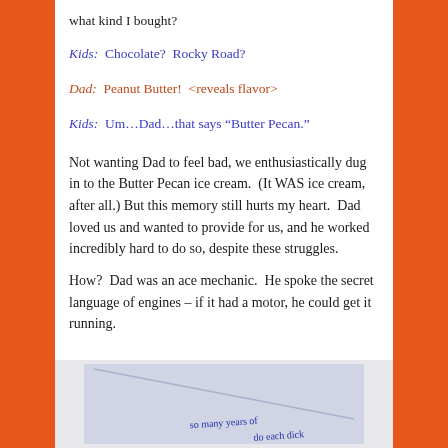what kind I bought?
Kids:  Chocolate?  Rocky Road?
Dad:  Peanut Butter!  <reveals flavor>
Kids:  Um…Dad…that says “Butter Pecan.”
Not wanting Dad to feel bad, we enthusiastically dug in to the Butter Pecan ice cream.  (It WAS ice cream, after all.)  But this memory still hurts my heart.  Dad loved us and wanted to provide for us, and he worked incredibly hard to do so, despite these struggles.
How?  Dad was an ace mechanic.  He spoke the secret language of engines – if it had a motor, he could get it running.
[Figure (photo): Partial view of a handwritten document or note with cursive text visible, on a light blue/grey background with a diagonal line across it. Text appears to read 'so many years of ...']